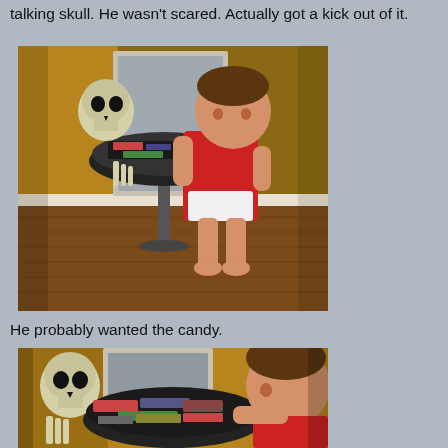talking skull. He wasn't scared. Actually got a kick out of it.
[Figure (photo): A toddler in a red shirt and diaper reaches toward a Halloween skeleton skull sitting on a pedestal bowl filled with candy. The child looks upward, seemingly interacting with the skull decoration.]
He probably wanted the candy.
[Figure (photo): Close-up of the same toddler in a red shirt leaning over a bowl of candy held by skeleton hands, with the skull decoration visible on the left. The child appears to be reaching for or eating candy from the bowl.]